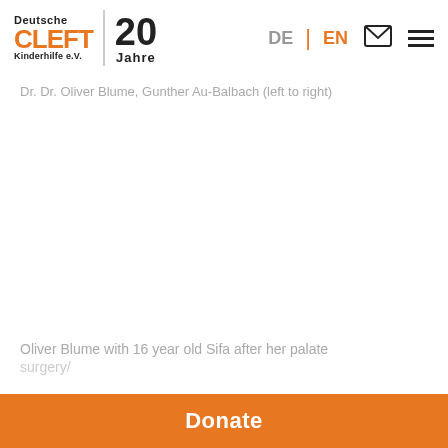Deutsche CLEFT Kinderhilfe e.V. | 20 Jahre — DE | EN [mail] [menu]
Dr. Dr. Oliver Blume, Gunther Au-Balbach (left to right)
[Figure (photo): Large photo area (mostly white/blank in this view) — shows Dr. Dr. Oliver Blume and Gunther Au-Balbach]
Oliver Blume with 16 year old Sifa after her palate surgery/
Donate